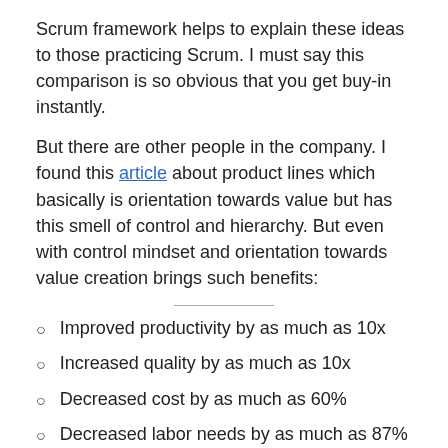Scrum framework helps to explain these ideas to those practicing Scrum. I must say this comparison is so obvious that you get buy-in instantly.
But there are other people in the company. I found this article about product lines which basically is orientation towards value but has this smell of control and hierarchy. But even with control mindset and orientation towards value creation brings such benefits:
Improved productivity by as much as 10x
Increased quality by as much as 10x
Decreased cost by as much as 60%
Decreased labor needs by as much as 87%